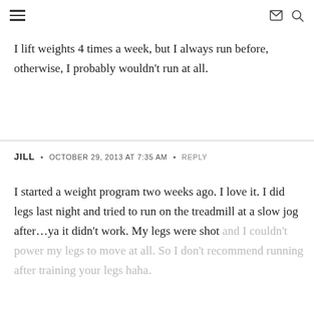≡  ✉ 🔍
I lift weights 4 times a week, but I always run before, otherwise, I probably wouldn't run at all.
JILL • OCTOBER 29, 2013 AT 7:35 AM • REPLY
I started a weight program two weeks ago. I love it. I did legs last night and tried to run on the treadmill at a slow jog after…ya it didn't work. My legs were shot and I couldn't power my legs to move at all. So I don't recommend running after training your legs haha.